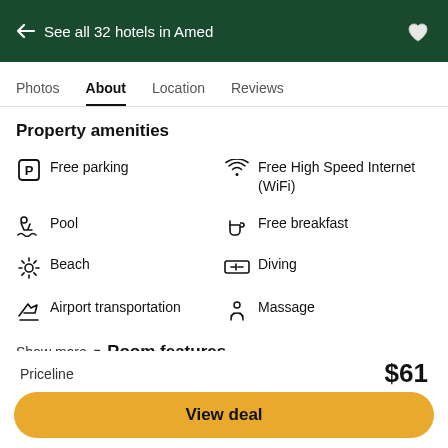← See all 32 hotels in Amed
Photos  About  Location  Reviews
Property amenities
Free parking
Free High Speed Internet (WiFi)
Pool
Free breakfast
Beach
Diving
Airport transportation
Massage
Show more ▼
Room features
Air conditioning
Housekeeping
Priceline  $61  View deal